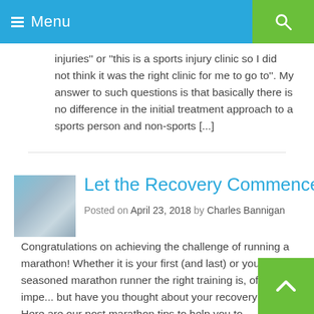Menu
injuries'' or ''this is a sports injury clinic so I did not think it was the right clinic for me to go to''. My answer to such questions is that basically there is no difference in the initial treatment approach to a sports person and non-sports [...]
Let the Recovery Commence
Posted on April 23, 2018 by Charles Bannigan
Congratulations on achieving the challenge of running a marathon! Whether it is your first (and last) or you are seasoned marathon runner the right training is, of course impe... but have you thought about your recovery plan. Here are our post marathon tips to help you to